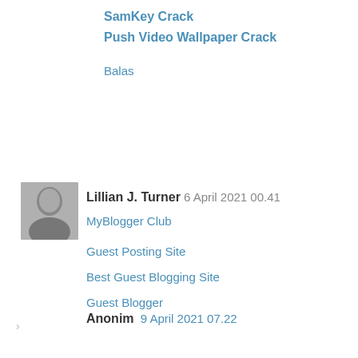SamKey Crack
Push Video Wallpaper Crack
Balas
Lillian J. Turner  6 April 2021 00.41
MyBlogger Club
Guest Posting Site
Best Guest Blogging Site
Guest Blogger
Guest Blogging Site
Balas
Anonim  9 April 2021 07.22
gay sohbet